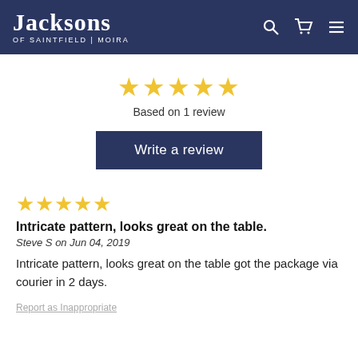Jacksons OF SAINTFIELD | MOIRA
[Figure (other): 5 gold stars rating]
Based on 1 review
Write a review
[Figure (other): 5 gold stars rating for review]
Intricate pattern, looks great on the table.
Steve S on Jun 04, 2019
Intricate pattern, looks great on the table got the package via courier in 2 days.
Report as Inappropriate